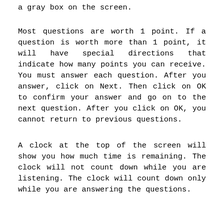a gray box on the screen.
Most questions are worth 1 point. If a question is worth more than 1 point, it will have special directions that indicate how many points you can receive. You must answer each question. After you answer, click on Next. Then click on OK to confirm your answer and go on to the next question. After you click on OK, you cannot return to previous questions.
A clock at the top of the screen will show you how much time is remaining. The clock will not count down while you are listening. The clock will count down only while you are answering the questions.